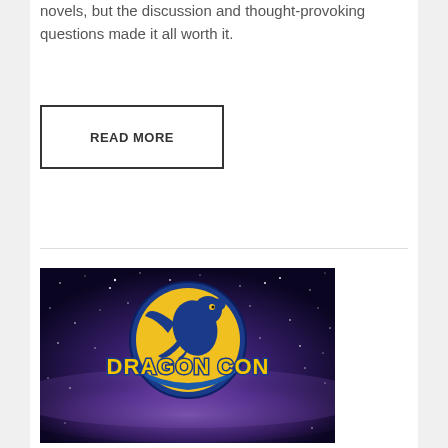novels, but the discussion and thought-provoking questions made it all worth it.
READ MORE
[Figure (logo): Dragon Con logo on a galaxy/starfield background. A yellow circle with a blue dragon silhouette and the text 'DRAGON CON' in yellow letters with blue outline below the circle.]